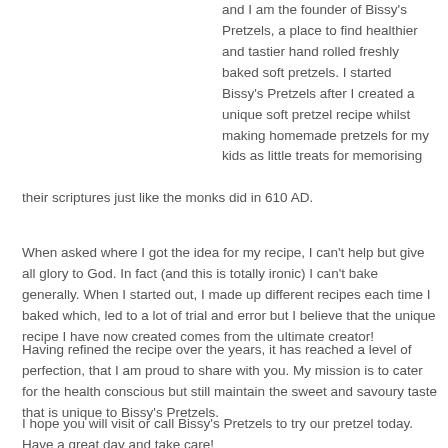and I am the founder of Bissy's Pretzels, a place to find healthier and tastier hand rolled freshly baked soft pretzels. I started Bissy's Pretzels after I created a unique soft pretzel recipe whilst making homemade pretzels for my kids as little treats for memorising their scriptures just like the monks did in 610 AD.
When asked where I got the idea for my recipe, I can't help but give all glory to God. In fact (and this is totally ironic) I can't bake generally. When I started out, I made up different recipes each time I baked which, led to a lot of trial and error but I believe that the unique recipe I have now created comes from the ultimate creator!
Having refined the recipe over the years, it has reached a level of perfection, that I am proud to share with you. My mission is to cater for the health conscious but still maintain the sweet and savoury taste that is unique to Bissy's Pretzels.
I hope you will visit or call Bissy's Pretzels to try our pretzel today. Have a great day and take care!